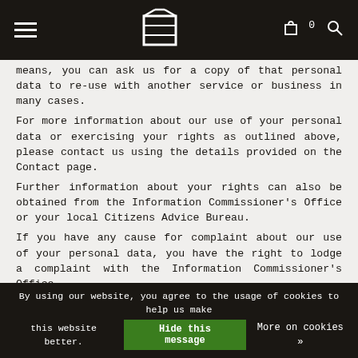Navigation bar with hamburger menu, logo, cart (0), and search icon
means, you can ask us for a copy of that personal data to re-use with another service or business in many cases.
For more information about our use of your personal data or exercising your rights as outlined above, please contact us using the details provided on the Contact page.
Further information about your rights can also be obtained from the Information Commissioner's Office or your local Citizens Advice Bureau.
If you have any cause for complaint about our use of your personal data, you have the right to lodge a complaint with the Information Commissioner's Office.
4. What personal data do you collect?
By using our website, you agree to the usage of cookies to help us make this website better. Hide this message More on cookies »